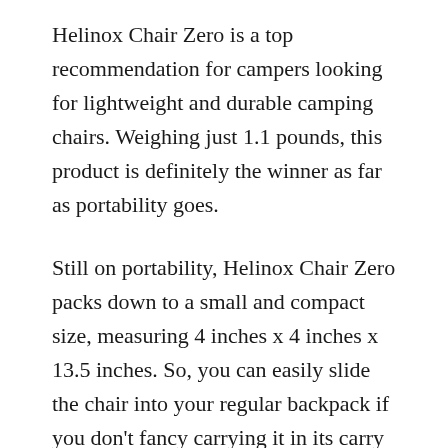Helinox Chair Zero is a top recommendation for campers looking for lightweight and durable camping chairs. Weighing just 1.1 pounds, this product is definitely the winner as far as portability goes.
Still on portability, Helinox Chair Zero packs down to a small and compact size, measuring 4 inches x 4 inches x 13.5 inches. So, you can easily slide the chair into your regular backpack if you don't fancy carrying it in its carry sack.
Despite being impressively lightweight, Helinox Chair Zero also features a strong and durable design, thanks to the use of aluminum alloy as its frame material. For efficient care and maintenance, the chair's seat and carry sack are made of weather-resistant and machine-